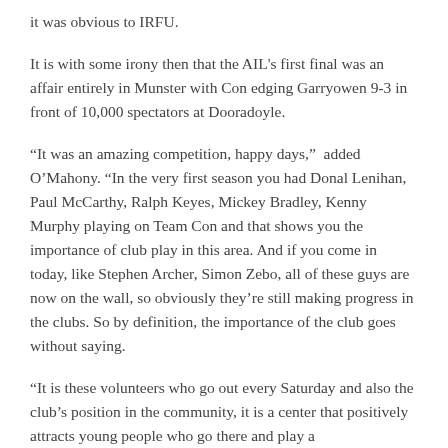it was obvious to IRFU.
It is with some irony then that the AIL's first final was an affair entirely in Munster with Con edging Garryowen 9-3 in front of 10,000 spectators at Dooradoyle.
“It was an amazing competition, happy days,” added O’Mahony. “In the very first season you had Donal Lenihan, Paul McCarthy, Ralph Keyes, Mickey Bradley, Kenny Murphy playing on Team Con and that shows you the importance of club play in this area. And if you come in today, like Stephen Archer, Simon Zebo, all of these guys are now on the wall, so obviously they’re still making progress in the clubs. So by definition, the importance of the club goes without saying.
“It is these volunteers who go out every Saturday and also the club’s position in the community, it is a center that positively attracts young people who go there and play a